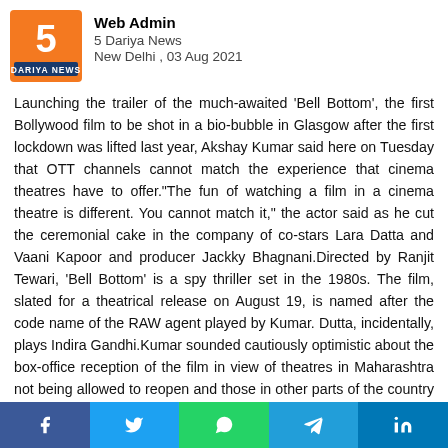[Figure (logo): 5 Dariya News logo — orange square with white '5' and 'DARIYA NEWS' text below]
Web Admin
5 Dariya News
New Delhi , 03 Aug 2021
Launching the trailer of the much-awaited 'Bell Bottom', the first Bollywood film to be shot in a bio-bubble in Glasgow after the first lockdown was lifted last year, Akshay Kumar said here on Tuesday that OTT channels cannot match the experience that cinema theatres have to offer."The fun of watching a film in a cinema theatre is different. You cannot match it," the actor said as he cut the ceremonial cake in the company of co-stars Lara Datta and Vaani Kapoor and producer Jackky Bhagnani.Directed by Ranjit Tewari, 'Bell Bottom' is a spy thriller set in the 1980s. The film, slated for a theatrical release on August 19, is named after the code name of the RAW agent played by Kumar. Dutta, incidentally, plays Indira Gandhi.Kumar sounded cautiously optimistic about the box-office reception of the film in view of theatres in Maharashtra not being allowed to reopen and those in other parts of the country operating at 50 per cent occupancy in adherence to Covid-19 protocols.Referring to the lukewarm public response to the reopening of cinema theatres, Kumar
[Figure (infographic): Social media share bar with Facebook, Twitter, WhatsApp, Telegram, LinkedIn buttons]